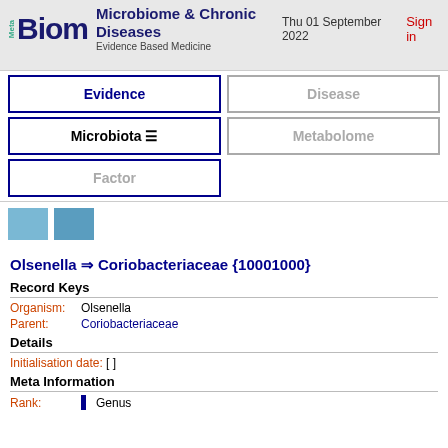Microbiome & Chronic Diseases — Evidence Based Medicine — Thu 01 September 2022 — Sign in
[Figure (screenshot): Navigation buttons: Evidence (active), Disease (inactive), Microbiota (active with menu icon), Metabolome (inactive), Factor (inactive)]
[Figure (infographic): Two blue square icon buttons]
Olsenella ⇒ Coriobacteriaceae {10001000}
Record Keys
Organism: Olsenella
Parent: Coriobacteriaceae
Details
Initialisation date: [  ]
Meta Information
Rank: Genus